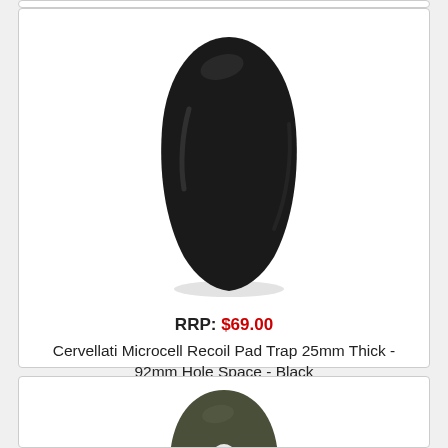[Figure (photo): Black Cervellati Microcell Recoil Pad, elongated teardrop shape, matte black finish, shown from front]
RRP: $69.00
Cervellati Microcell Recoil Pad Trap 25mm Thick - 92mm Hole Space - Black
217315-B
[Figure (photo): Olive/dark green Cervellati Microcell Recoil Pad with oval mounting hole cutout, shown from front]